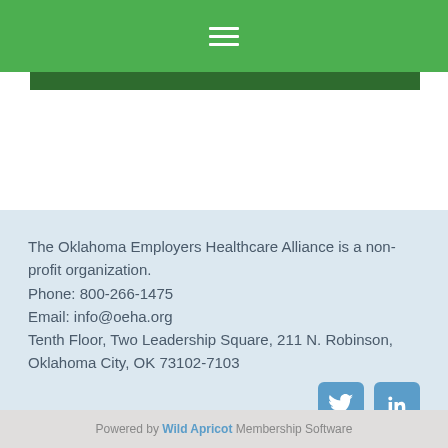[Figure (screenshot): Green navigation header bar with white hamburger menu icon (three horizontal lines)]
The Oklahoma Employers Healthcare Alliance is a non-profit organization.
Phone: 800-266-1475
Email: info@oeha.org
Tenth Floor, Two Leadership Square, 211 N. Robinson, Oklahoma City, OK 73102-7103
[Figure (other): Twitter and LinkedIn social media icons in blue rounded square buttons]
Powered by Wild Apricot Membership Software